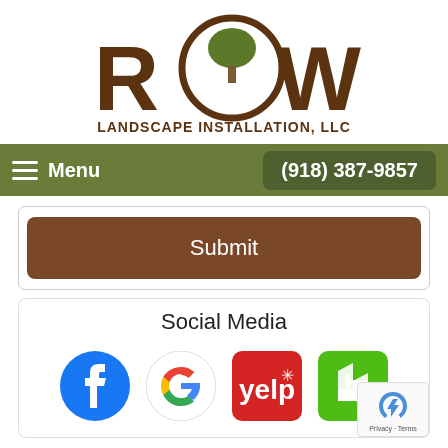[Figure (logo): Rowe Landscape Installation, LLC logo — brown text 'ROWE' with a circular tree icon replacing the O, and 'LANDSCAPE INSTALLATION, LLC' below in brown uppercase letters]
Menu   (918) 387-9857
[Figure (other): Brown 'Submit' button]
Social Media
[Figure (other): Social media icons: Facebook, Google, Yelp, Houzz]